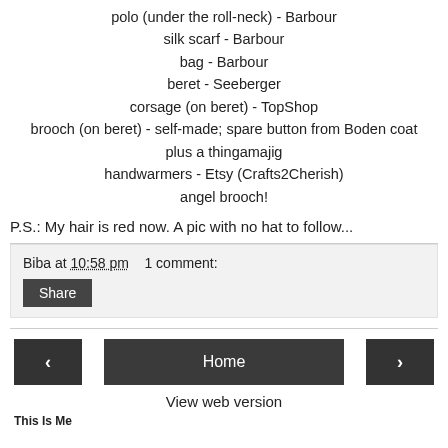polo (under the roll-neck) - Barbour
silk scarf - Barbour
bag - Barbour
beret - Seeberger
corsage (on beret) - TopShop
brooch (on beret) - self-made; spare button from Boden coat plus a thingamajig
handwarmers - Etsy (Crafts2Cherish)
angel brooch!
P.S.: My hair is red now. A pic with no hat to follow...
Biba at 10:58 pm   1 comment:
Share
Home
View web version
This Is Me